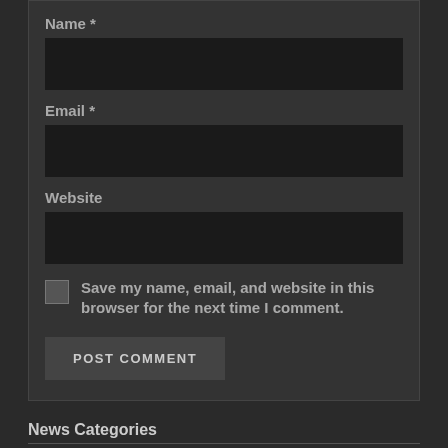Name *
[Figure (other): Empty dark input field for Name]
Email *
[Figure (other): Empty dark input field for Email]
Website
[Figure (other): Empty dark input field for Website]
Save my name, email, and website in this browser for the next time I comment.
POST COMMENT
News Categories